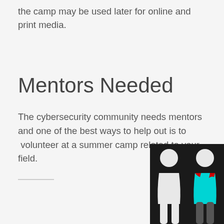the camp may be used later for online and print media.
Mentors Needed
The cybersecurity community needs mentors and one of the best ways to help out is to  volunteer at a summer camp related to your field.
[Figure (illustration): Two human silhouette figures on a dark background: one plain white figure on the left, one figure on the right wearing a cyan/teal shirt with red accents.]